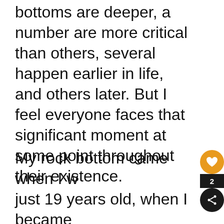bottoms are deeper, a number are more critical than others, several happen earlier in life, and others later. But I feel everyone faces that significant moment at some point throughout their existence.
My rock bottom came when I was just 19 years old, when I became quadriplegic after breaking my neck diving into shallow water. I was told that I would never walk